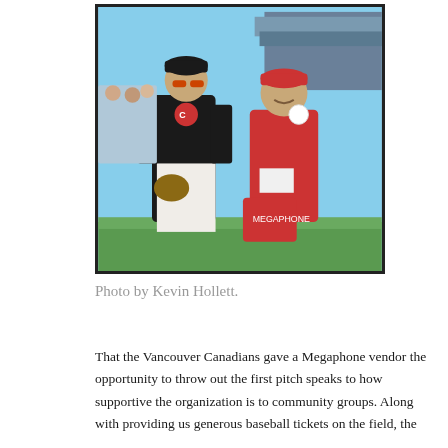[Figure (photo): A baseball player in a black uniform with a team logo stands on a field next to a woman in a red dress and red cap who is holding up a baseball. The player is wearing sunglasses and a catcher's mitt. A stadium is visible in the background.]
Photo by Kevin Hollett.
That the Vancouver Canadians gave a Megaphone vendor the opportunity to throw out the first pitch speaks to how supportive the organization is to community groups. Along with providing us generous baseball tickets on the field, the